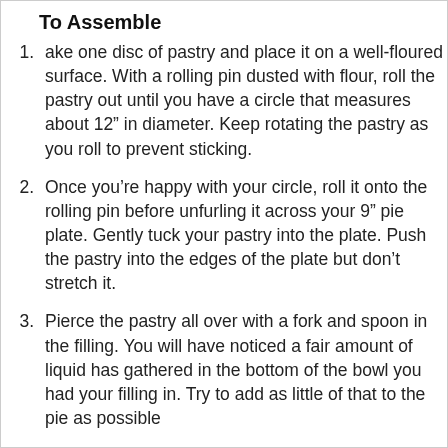To Assemble
ake one disc of pastry and place it on a well-floured surface. With a rolling pin dusted with flour, roll the pastry out until you have a circle that measures about 12” in diameter. Keep rotating the pastry as you roll to prevent sticking.
Once you’re happy with your circle, roll it onto the rolling pin before unfurling it across your 9” pie plate. Gently tuck your pastry into the plate. Push the pastry into the edges of the plate but don’t stretch it.
Pierce the pastry all over with a fork and spoon in the filling. You will have noticed a fair amount of liquid has gathered in the bottom of the bowl you had your filling in. Try to add as little of that to the pie as possible